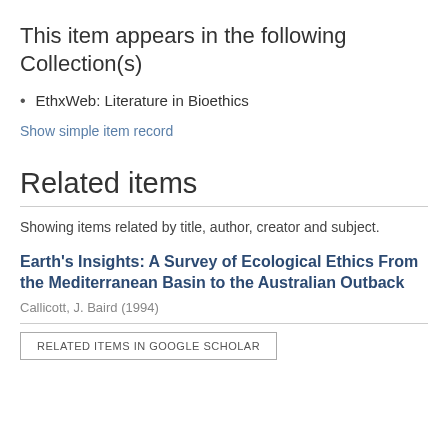This item appears in the following Collection(s)
EthxWeb: Literature in Bioethics
Show simple item record
Related items
Showing items related by title, author, creator and subject.
Earth's Insights: A Survey of Ecological Ethics From the Mediterranean Basin to the Australian Outback
Callicott, J. Baird (1994)
RELATED ITEMS IN GOOGLE SCHOLAR